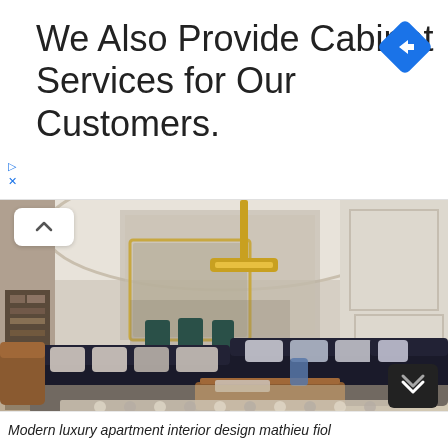We Also Provide Cabinet Services for Our Customers.
[Figure (photo): Modern luxury apartment interior with dark leather sofas, ornate white walls with classical moldings, a wooden pendant light, herringbone parquet floor, and a patterned rug.]
Modern luxury apartment interior design mathieu fiol